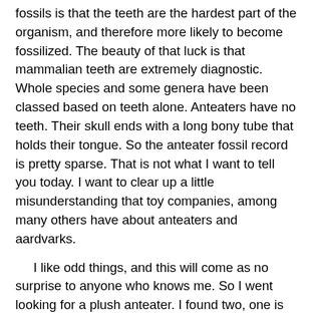fossils is that the teeth are the hardest part of the organism, and therefore more likely to become fossilized. The beauty of that luck is that mammalian teeth are extremely diagnostic. Whole species and some genera have been classed based on teeth alone. Anteaters have no teeth. Their skull ends with a long bony tube that holds their tongue. So the anteater fossil record is pretty sparse. That is not what I want to tell you today. I want to clear up a little misunderstanding that toy companies, among many others have about anteaters and aardvarks.
I like odd things, and this will come as no surprise to anyone who knows me. So I went looking for a plush anteater. I found two, one is huge, for stuffed animal proportions. He is about two feet long, grey with the signature black stripe across his side. The tag in his ear is filled with information regarding “The Anteater.” This information includes habitat, diet, etc. This larger anteater follows the normal studies of the Anteater: South and Central America, ants, grubs, etc., one pup that